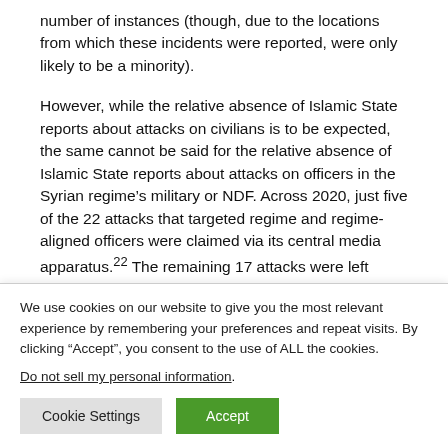number of instances (though, due to the locations from which these incidents were reported, were only likely to be a minority).
However, while the relative absence of Islamic State reports about attacks on civilians is to be expected, the same cannot be said for the relative absence of Islamic State reports about attacks on officers in the Syrian regime’s military or NDF. Across 2020, just five of the 22 attacks that targeted regime and regime-aligned officers were claimed via its central media apparatus.22 The remaining 17 attacks were left entirely
We use cookies on our website to give you the most relevant experience by remembering your preferences and repeat visits. By clicking “Accept”, you consent to the use of ALL the cookies.
Do not sell my personal information.